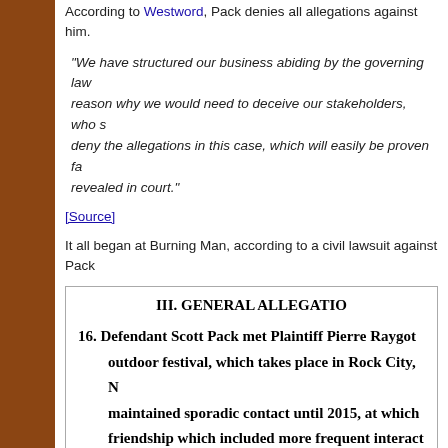According to Westword, Pack denies all allegations against him.
“We have structured our business abiding by the governing law… reason why we would need to deceive our stakeholders, who s… deny the allegations in this case, which will easily be proven fa… revealed in court.”
[Source]
It all began at Burning Man, according to a civil lawsuit against Pack…
III. GENERAL ALLEGATIO…
16. Defendant Scott Pack met Plaintiff Pierre Raygot… outdoor festival, which takes place in Rock City, N… maintained sporadic contact until 2015, at which… friendship which included more frequent interact…
17. Defendant Pack approached Pierre about a busin…